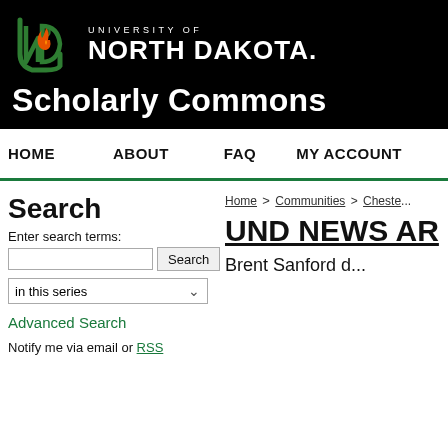[Figure (logo): University of North Dakota logo with UND letters and Scholarly Commons text on black background]
HOME  ABOUT  FAQ  MY ACCOUNT
Search
Enter search terms:
in this series
Advanced Search
Notify me via email or RSS
Home > Communities > Cheste...
UND NEWS AR...
Brent Sanford d...